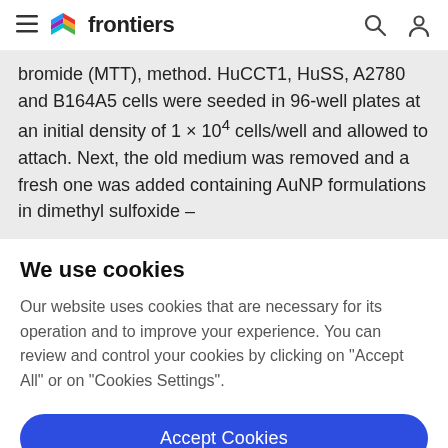frontiers
bromide (MTT), method. HuCCT1, HuSS, A2780 and B164A5 cells were seeded in 96-well plates at an initial density of 1 × 10^4 cells/well and allowed to attach. Next, the old medium was removed and a fresh one was added containing AuNP formulations in dimethyl sulfoxide –
We use cookies
Our website uses cookies that are necessary for its operation and to improve your experience. You can review and control your cookies by clicking on "Accept All" or on "Cookies Settings".
Accept Cookies
Cookies Settings